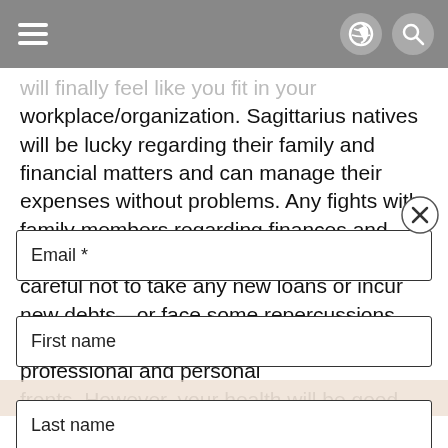will finally feel like you fit in your workplace/organization. Sagittarius natives will be lucky regarding their family and financial matters and can manage their expenses without problems. Any fights with family members regarding finances and home can be resolved, but you should be careful not to take any new loans or incur new debts—or face some repercussions. An old friend could help you on the professional and personal fronts. However, your health will be good, but with
Email *
First name
Last name